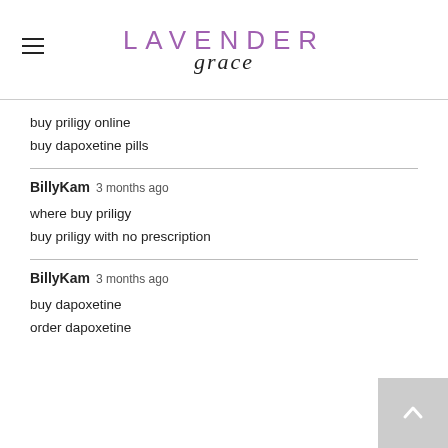LAVENDER grace
buy priligy online
buy dapoxetine pills
BillyKam  3 months ago
where buy priligy
buy priligy with no prescription
BillyKam  3 months ago
buy dapoxetine
order dapoxetine